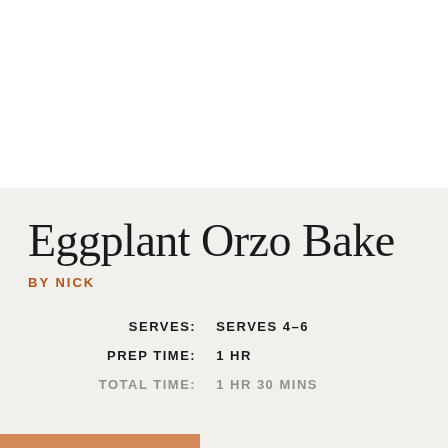[Figure (photo): White background / food photo area at top of page]
Eggplant Orzo Bake
BY NICK
| Label | Value |
| --- | --- |
| SERVES: | SERVES 4-6 |
| PREP TIME: | 1 HR |
| TOTAL TIME: | 1 HR 30 MINS |